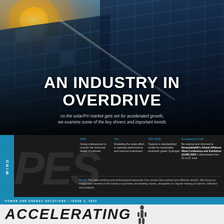[Figure (photo): Solar PV panels close-up with sunburst in upper left corner, blue sky with clouds visible. Dark gradient overlay on lower portion.]
AN INDUSTRY IN OVERDRIVE
As the solar/PV market gets set for accelerated growth, we examine some of the key drivers and important trends
[Figure (logo): PES Wind magazine logo with WIND text rotated vertically on blue strip, large PES letters in dark background]
DNV
Going underground to monitor the structural health of turbines
Cllr
Modelling the wake effect to optimise performance and improve investment
TÜV SÜD
Towards a standardised model for sustainably produced 'green' hydrogen
Conference Call
Be inspired and informed at RenewableUK's Global Offshore Wind Conference and Exhibition (GOW) 2022 in Manchester from 21 to 27 June
PLUS The latest thinking and technological advances from across the onshore and offshore sectors. We bring you insight from several of the industry's pioneers and leading names, alongside our regular helping of opinion, reflection and analysis.
POWER AND ENERGY SOLUTIONS • ISSUE 2, 2022
ACCELERATING